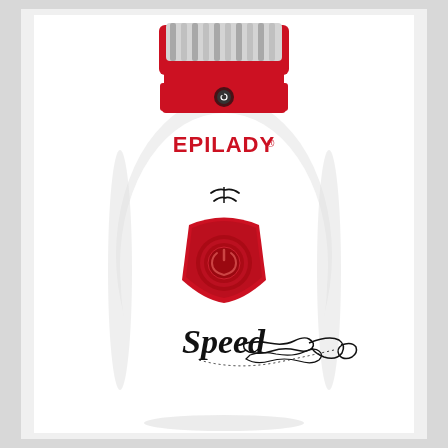[Figure (photo): Product photo of an Epilady Speed epilator hair removal device. The device is white and red, egg-shaped with a red rotating epilating head at the top containing metallic tweezers/discs. The body is white with a red triangular power button in the center and the EPILADY brand name in red text near the top. The lower portion has a cursive 'Speed' logo with decorative swirl lines in black. A small speed/vibration indicator icon appears above the button.]